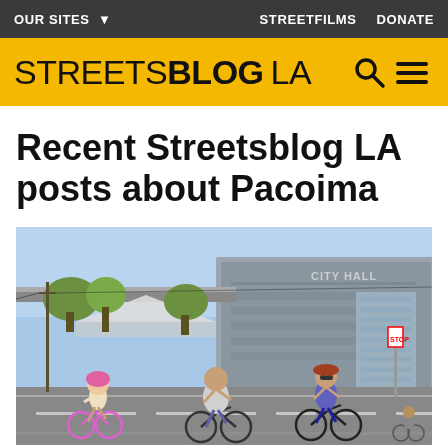OUR SITES ▾   STREETFILMS   DONATE
STREETSBLOG LA
Recent Streetsblog LA posts about Pacoima
[Figure (photo): Cyclists including a child in a pink helmet, an adult man, and an adult woman riding bicycles on a street in front of a modern City Hall building on a sunny day.]